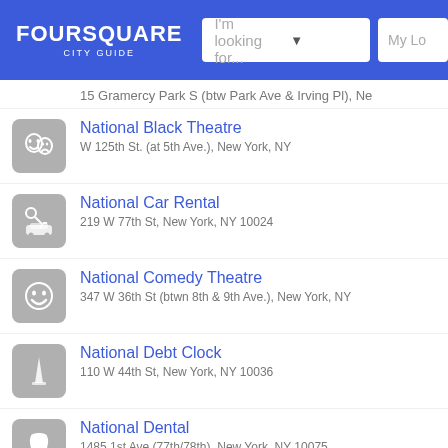FOURSQUARE CITY GUIDE — navigation bar with search
15 Gramercy Park S (btw Park Ave & Irving Pl), Ne
National Black Theatre — W 125th St. (at 5th Ave.), New York, NY
National Car Rental — 219 W 77th St, New York, NY 10024
National Comedy Theatre — 347 W 36th St (btwn 8th & 9th Ave.), New York, NY
National Debt Clock — 110 W 44th St, New York, NY 10036
National Dental — 1485 1st Ave (77th/78th), New York, NY 10075
National Football League